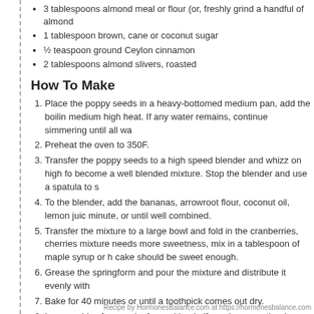3 tablespoons almond meal or flour (or, freshly grind a handful of almond
1 tablespoon brown, cane or coconut sugar
½ teaspoon ground Ceylon cinnamon
2 tablespoons almond slivers, roasted
How To Make
1. Place the poppy seeds in a heavy-bottomed medium pan, add the boiling medium high heat. If any water remains, continue simmering until all wa
2. Preheat the oven to 350F.
3. Transfer the poppy seeds to a high speed blender and whizz on high for become a well blended mixture. Stop the blender and use a spatula to s
4. To the blender, add the bananas, arrowroot flour, coconut oil, lemon juic minute, or until well combined.
5. Transfer the mixture to a large bowl and fold in the cranberries, cherries mixture needs more sweetness, mix in a tablespoon of maple syrup or h cake should be sweet enough.
6. Grease the springform and pour the mixture and distribute it evenly with
7. Bake for 40 minutes or until a toothpick comes out dry.
8. Loosen sides from springform with a knife and remove the rim. Cool on soft but will harden as it cools.
9. Grind sugar and cinnamon in a coffee grinder. Use a fine sieve to dust t with almond slivers.
Notes
Equipment:
High-speed food blender (like Vitamix, Blendtec or Nutribullet)
9-inch springform
Recipe by HormonesBalance.com at https://hormonesbalance.com